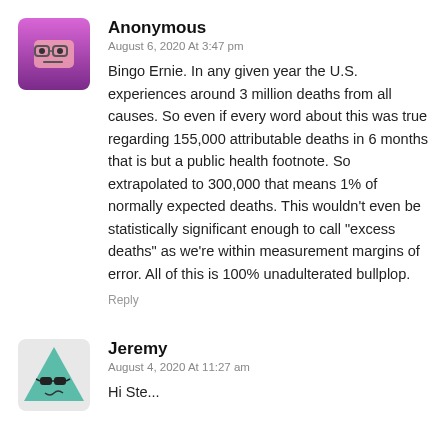[Figure (illustration): Avatar of Anonymous commenter: pink/purple rounded square with cartoon face wearing glasses, neutral expression]
Anonymous
August 6, 2020 At 3:47 pm
Bingo Ernie. In any given year the U.S. experiences around 3 million deaths from all causes. So even if every word about this was true regarding 155,000 attributable deaths in 6 months that is but a public health footnote. So extrapolated to 300,000 that means 1% of normally expected deaths. This wouldn't even be statistically significant enough to call "excess deaths" as we're within measurement margins of error. All of this is 100% unadulterated bullplop.
Reply
[Figure (illustration): Avatar of Jeremy commenter: teal/green triangle shape with sunglasses, cartoon character]
Jeremy
August 4, 2020 At 11:27 am
Hi Ste...